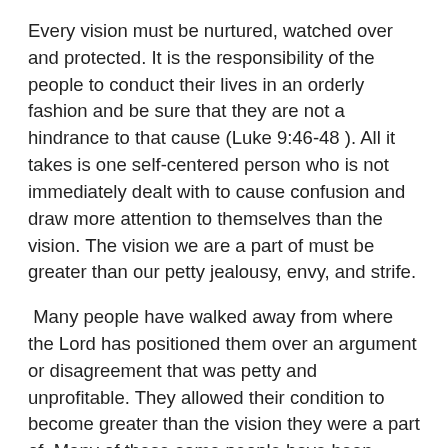Every vision must be nurtured, watched over and protected. It is the responsibility of the people to conduct their lives in an orderly fashion and be sure that they are not a hindrance to that cause (Luke 9:46-48 ). All it takes is one self-centered person who is not immediately dealt with to cause confusion and draw more attention to themselves than the vision. The vision we are a part of must be greater than our petty jealousy, envy, and strife.
Many people have walked away from where the Lord has positioned them over an argument or disagreement that was petty and unprofitable. They allowed their condition to become greater than the vision they were a part of. Many of these same people have been unfruitful in their walk with God for years because of their refusal to forgive and refocus on